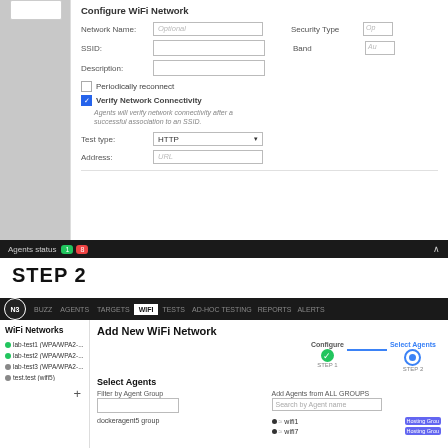[Figure (screenshot): Configure WiFi Network form showing fields: Network Name (Optional), SSID, Description, Periodically reconnect checkbox, Verify Network Connectivity checkbox (checked), helper text, Test type (HTTP dropdown), Address (URL). Right side partially visible: Security Type, Band fields.]
[Figure (screenshot): Agents status bar with green badge '1' and red badge '8' count indicators on dark background with caret icon.]
STEP 2
[Figure (screenshot): Navigation bar with logo (NB), BUZZ, AGENTS, TARGETS, WIFI (active), TESTS, AD-HOC TESTING, REPORTS, ALERTS tabs. Left sidebar shows WiFi Networks: lab-test1 (WPA/WPA2-...), lab-test2 (WPA/WPA2-...), lab-test3 (WPA/WPA2-...), test.test (wifi5), plus button. Main area: Add New WiFi Network, stepper showing Configure (Step 1 completed green) and Select Agents (Step 2 active blue), Select Agents section with Filter by Agent Group, Add Agents from ALL GROUPS search, dockeragent5 group, wifi1 and wifi7 agents with Hosting Grou... badges.]